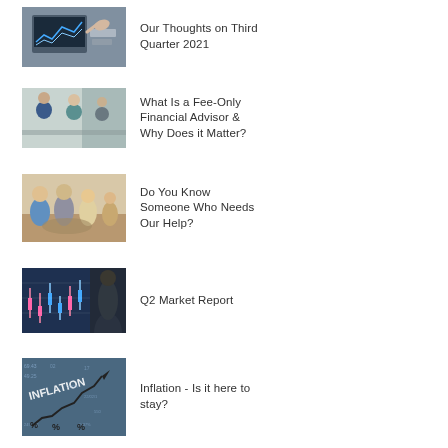[Figure (photo): Person pointing at financial chart on monitor screen]
Our Thoughts on Third Quarter 2021
[Figure (photo): Business meeting with professionals around a table]
What Is a Fee-Only Financial Advisor & Why Does it Matter?
[Figure (photo): Group of people at a casual outdoor meeting]
Do You Know Someone Who Needs Our Help?
[Figure (photo): Person in suit standing in front of financial market chart display]
Q2 Market Report
[Figure (photo): Inflation chart with percentage symbols and upward trending arrow]
Inflation - Is it here to stay?